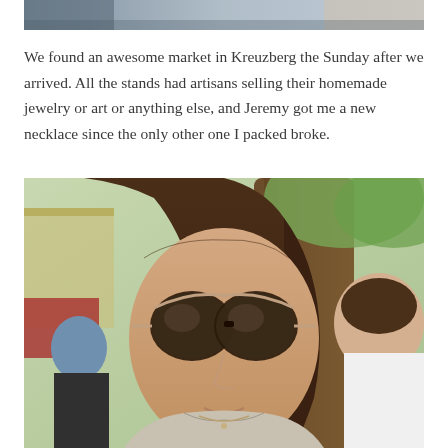[Figure (photo): Top portion of a photo, partially cropped at top of page, showing an outdoor scene with muted blue-grey tones.]
We found an awesome market in Kreuzberg the Sunday after we arrived. All the stands had artisans selling their homemade jewelry or art or anything else, and Jeremy got me a new necklace since the only other one I packed broke.
[Figure (photo): A woman with long brown hair and dark sunglasses taking a selfie at an outdoor market. Behind her is a large tree trunk and a man in a white t-shirt. Trees and market stalls are visible in the background.]